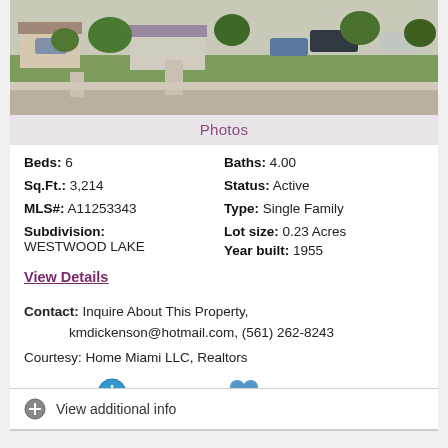[Figure (photo): Aerial/street view photo of a residential neighborhood showing houses, driveways, lawns, parked vehicles, and trees.]
Photos
Beds: 6   Baths: 4.00
Sq.Ft.: 3,214   Status: Active
MLS#: A11253343   Type: Single Family
Subdivision: WESTWOOD LAKE   Lot size: 0.23 Acres
Year built: 1955
View Details
Contact: Inquire About This Property, kmdickenson@hotmail.com, (561) 262-8243
Courtesy: Home Miami LLC, Realtors
Request Info   Save Property
View additional info